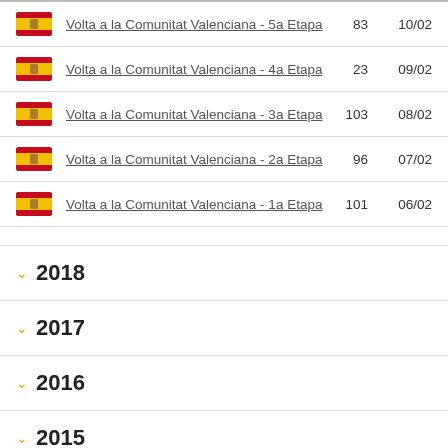Volta a la Comunitat Valenciana - 5a Etapa  83  10/02
Volta a la Comunitat Valenciana - 4a Etapa  23  09/02
Volta a la Comunitat Valenciana - 3a Etapa  103  08/02
Volta a la Comunitat Valenciana - 2a Etapa  96  07/02
Volta a la Comunitat Valenciana - 1a Etapa  101  06/02
2018
2017
2016
2015